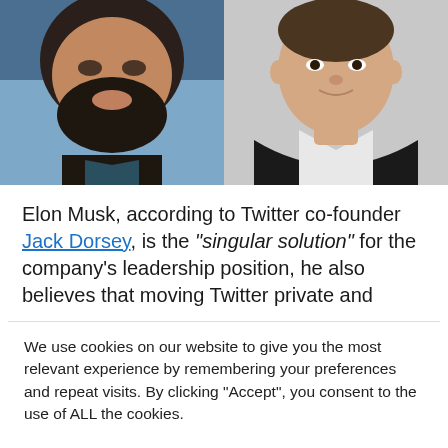[Figure (photo): Two side-by-side portrait photos: left shows a bearded man (Jack Dorsey) against a blue background, right shows a man in a dark suit with white shirt (Elon Musk) against a grey background.]
Elon Musk, according to Twitter co-founder Jack Dorsey, is the "singular solution" for the company's leadership position, he also believes that moving Twitter private and
We use cookies on our website to give you the most relevant experience by remembering your preferences and repeat visits. By clicking "Accept", you consent to the use of ALL the cookies.
Do not sell my personal information.